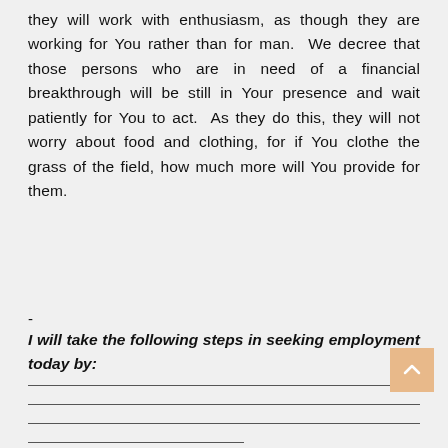they will work with enthusiasm, as though they are working for You rather than for man. We decree that those persons who are in need of a financial breakthrough will be still in Your presence and wait patiently for You to act. As they do this, they will not worry about food and clothing, for if You clothe the grass of the field, how much more will You provide for them.
-
I will take the following steps in seeking employment today by: